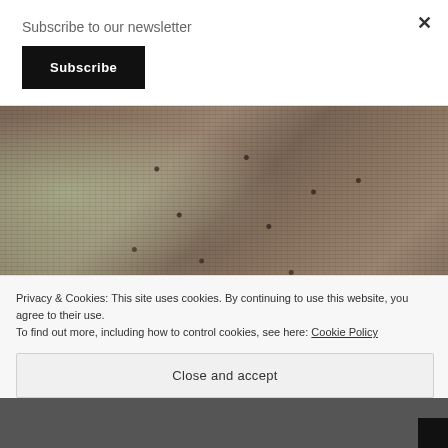Subscribe to our newsletter
Subscribe
[Figure (photo): Close-up photo of a brown/taupe knitted fabric with lace/hole pattern texture, with blurry green plant and store background visible on the left]
Privacy & Cookies: This site uses cookies. By continuing to use this website, you agree to their use. To find out more, including how to control cookies, see here: Cookie Policy
Close and accept